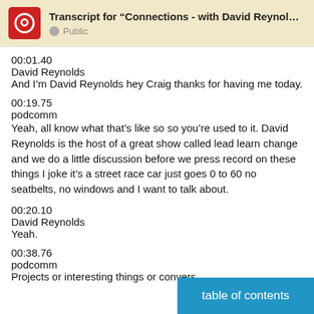Transcript for “Connections - with David Reynol… Public
00:01.40
David Reynolds
And I’m David Reynolds hey Craig thanks for having me today.
00:19.75
podcomm
Yeah, all know what that’s like so so you’re used to it. David Reynolds is the host of a great show called lead learn change and we do a little discussion before we press record on these things I joke it’s a street race car just goes 0 to 60 no seatbelts, no windows and I want to talk about.
00:20.10
David Reynolds
Yeah.
00:38.76
podcomm
Projects or interesting things or convers…